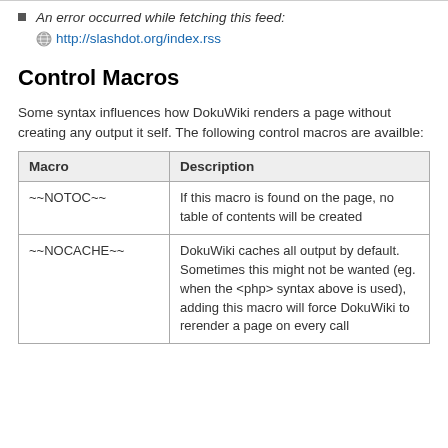An error occurred while fetching this feed: http://slashdot.org/index.rss
Control Macros
Some syntax influences how DokuWiki renders a page without creating any output it self. The following control macros are availble:
| Macro | Description |
| --- | --- |
| ~~NOTOC~~ | If this macro is found on the page, no table of contents will be created |
| ~~NOCACHE~~ | DokuWiki caches all output by default. Sometimes this might not be wanted (eg. when the <php> syntax above is used), adding this macro will force DokuWiki to rerender a page on every call |